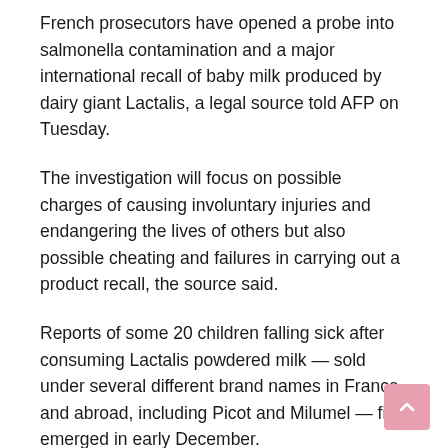French prosecutors have opened a probe into salmonella contamination and a major international recall of baby milk produced by dairy giant Lactalis, a legal source told AFP on Tuesday.
The investigation will focus on possible charges of causing involuntary injuries and endangering the lives of others but also possible cheating and failures in carrying out a product recall, the source said.
Reports of some 20 children falling sick after consuming Lactalis powdered milk — sold under several different brand names in France and abroad, including Picot and Milumel — first emerged in early December.
The company, one of the world's largest producers of dairy products, ordered a first major recall on December 10 of nearly 7,000 tonnes of packets produced by a contaminated factory in Craon, northwest France.